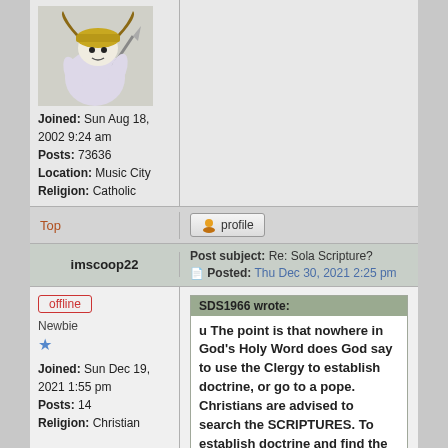[Figure (illustration): Forum avatar: cartoon cat/animal character wearing a Viking helmet holding a weapon, on white background]
Joined: Sun Aug 18, 2002 9:24 am
Posts: 73636
Location: Music City
Religion: Catholic
Top
profile
imscoop22
Post subject: Re: Sola Scripture?
Posted: Thu Dec 30, 2021 2:25 pm
offline
Newbie
Joined: Sun Dec 19, 2021 1:55 pm
Posts: 14
Religion: Christian
SDS1966 wrote:
u The point is that nowhere in God's Holy Word does God say to use the Clergy to establish doctrine, or go to a pope. Christians are advised to search the SCRIPTURES. To establish doctrine and find the standard,